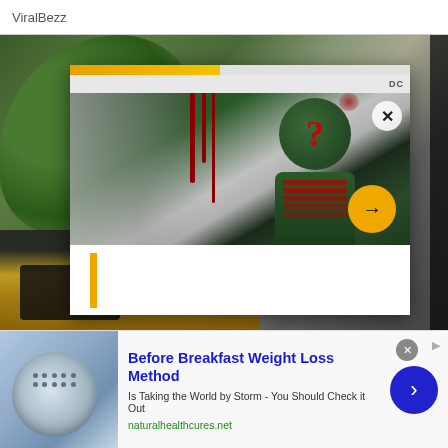ViralBezz
[Figure (screenshot): A screenshot of a webpage showing a plant/notebook background image with a popup overlay containing a DC Comics Riddler-themed image with a progress bar, close button, and forward arrow button. At the bottom is an advertisement for 'Before Breakfast Weight Loss Method'.]
Before Breakfast Weight Loss Method
Is Taking the World by Storm - You Should Check it Out
naturalhealthcures.net